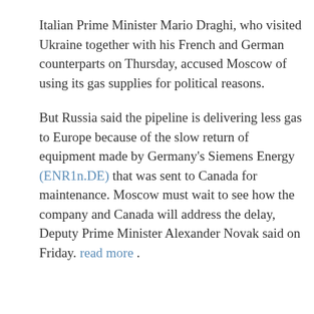Italian Prime Minister Mario Draghi, who visited Ukraine together with his French and German counterparts on Thursday, accused Moscow of using its gas supplies for political reasons.
But Russia said the pipeline is delivering less gas to Europe because of the slow return of equipment made by Germany's Siemens Energy (ENR1n.DE) that was sent to Canada for maintenance. Moscow must wait to see how the company and Canada will address the delay, Deputy Prime Minister Alexander Novak said on Friday. read more .